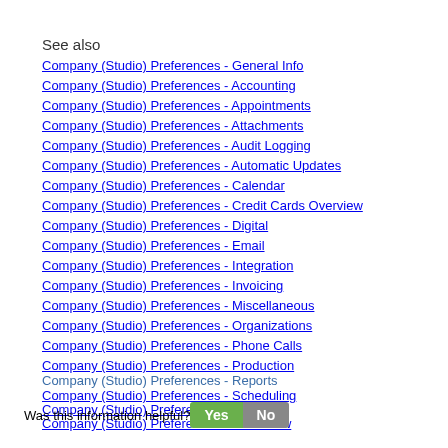See also
Company (Studio) Preferences - General Info
Company (Studio) Preferences - Accounting
Company (Studio) Preferences - Appointments
Company (Studio) Preferences - Attachments
Company (Studio) Preferences - Audit Logging
Company (Studio) Preferences - Automatic Updates
Company (Studio) Preferences - Calendar
Company (Studio) Preferences - Credit Cards Overview
Company (Studio) Preferences - Digital
Company (Studio) Preferences - Email
Company (Studio) Preferences - Integration
Company (Studio) Preferences - Invoicing
Company (Studio) Preferences - Miscellaneous
Company (Studio) Preferences - Organizations
Company (Studio) Preferences - Phone Calls
Company (Studio) Preferences - Production
Company (Studio) Preferences - Reports
Company (Studio) Preferences - Scheduling
Company (Studio) Preferences - Sessions
Company (Studio) Preferences - Slideshow
Was this information helpful? Yes No